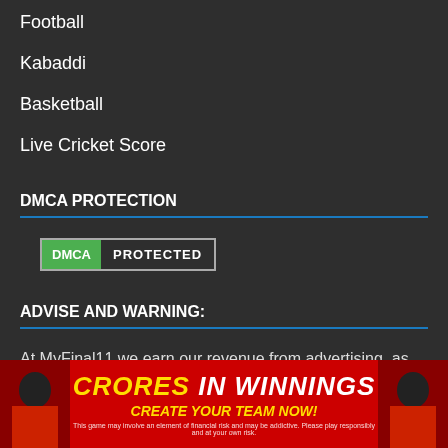Football
Kabaddi
Basketball
Live Cricket Score
DMCA PROTECTION
[Figure (logo): DMCA Protected badge with green DMCA label and grey border]
ADVISE AND WARNING:
At MyFinal11 we earn our revenue from advertising. as we have users from all over the globe.
[Figure (infographic): Red banner advertisement reading CRORES IN WINNINGS CREATE YOUR TEAM NOW! with cricket players on both sides]